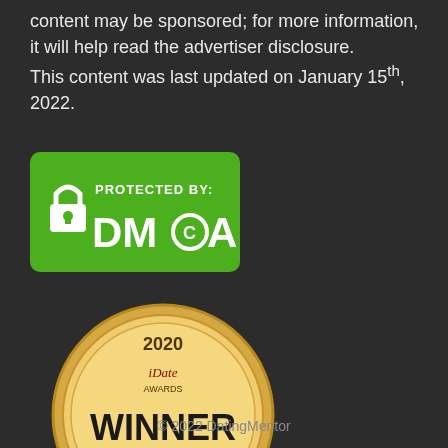content may be sponsored; for more information, it will help read the advertiser disclosure.
This content was last updated on January 15th, 2022.
[Figure (logo): DMCA Protected By badge - green rectangular badge with lock icon and DMCA copyright logo in white text]
[Figure (illustration): iDate Awards 2020 Winner - Best Product Design gold medal badge with red ribbon]
© 2022 DatingMentor